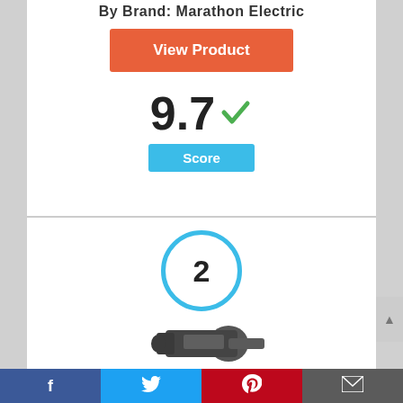By Brand: Marathon Electric
[Figure (other): Orange 'View Product' button]
9.7
Score
[Figure (other): Ranking circle with number 2 in blue border]
[Figure (photo): Photo of a Marathon Electric motor]
Social share bar: Facebook, Twitter, Pinterest, Email